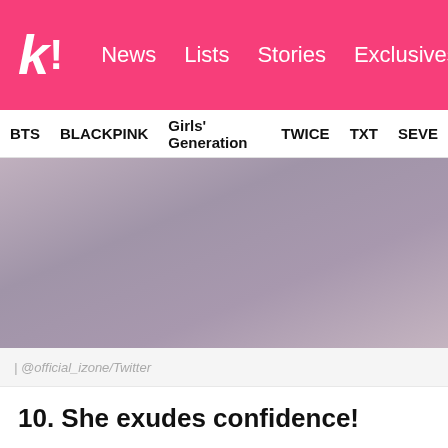k! News Lists Stories Exclusives
BTS BLACKPINK Girls' Generation TWICE TXT SEVE
[Figure (photo): Blurred/placeholder image with muted pink-purple tones, likely a photo of a K-pop artist from @official_izone/Twitter]
| @official_izone/Twitter
10. She exudes confidence!
While her beauty has gained her a lot of